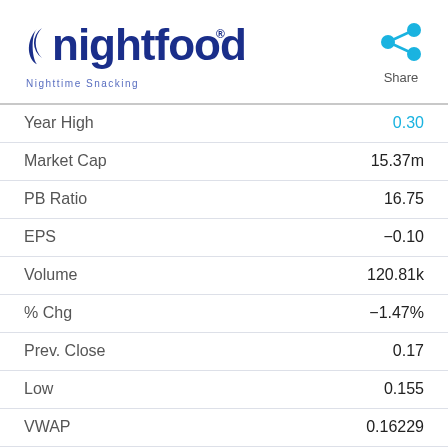[Figure (logo): Nightfood logo with moon icon and tagline 'Nighttime Snacking']
| Metric | Value |
| --- | --- |
| Year High | 0.30 |
| Market Cap | 15.37m |
| PB Ratio | 16.75 |
| EPS | -0.10 |
| Volume | 120.81k |
| % Chg | -1.47% |
| Prev. Close | 0.17 |
| Low | 0.155 |
| VWAP | 0.16229 |
| Year Low | 0.131 |
| Total Shares | 91.75m |
| Shares Out. | 91.75 |